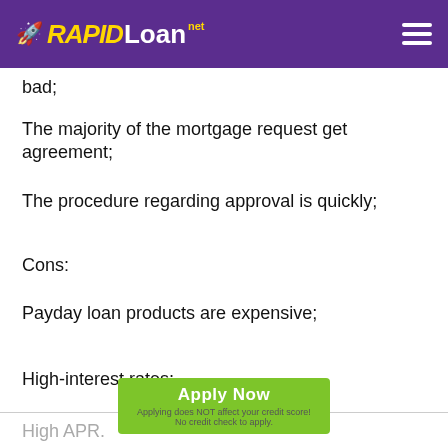RAPID Loan .net
bad;
The majority of the mortgage request get agreement;
The procedure regarding approval is quickly;
Cons:
Payday loan products are expensive;
High-interest rates;
High APR.
Be cautious before an individual take an Willimantic payday loan. Produce the financial matters plus take a loan only when you are sure that you can repay it.